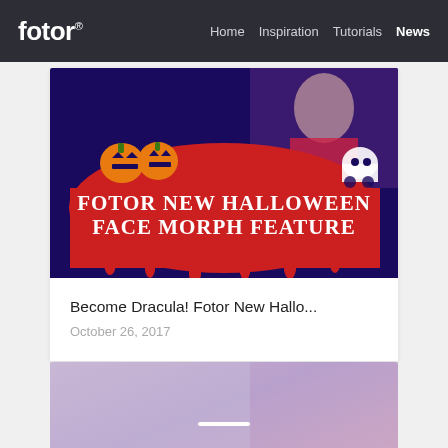fotor® | Home   Inspiration   Tutorials   News
[Figure (photo): Halloween themed banner image showing 'Fotor New Halloween Face Morph Feature' text on a red dripping background with pumpkin emojis and a ghost, with a person in Halloween costume visible at the top]
Become Dracula! Fotor New Hallo...
October 26, 2017
[Figure (photo): Purple-pink gradient image with white dash and bold white text reading 'INTRODUCING']